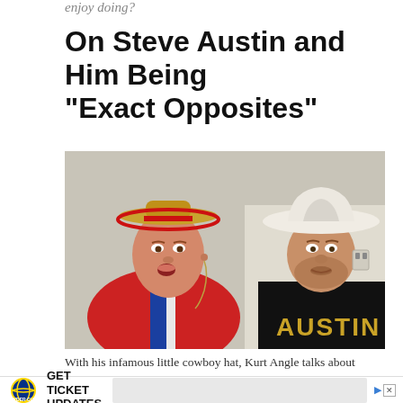enjoy doing?
On Steve Austin and Him Being “Exact Opposites”
[Figure (photo): Two men in cowboy hats. On the left is Kurt Angle wearing a small straw cowboy hat with a red brim and a red, white, and blue jacket with an earpiece. On the right is Steve Austin wearing a white cowboy hat and a black t-shirt with 'AUSTIN' written in gold letters.]
With his infamous little cowboy hat, Kurt Angle talks about what [ad overlay] then he an[d]
GET TICKET UPDATES